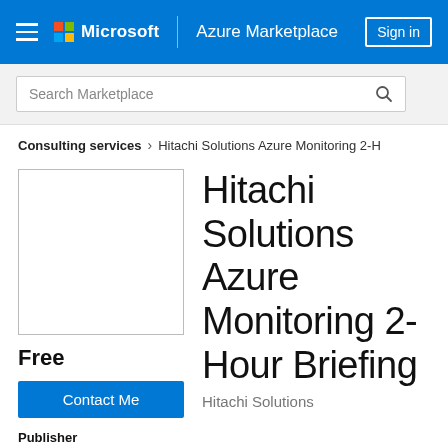Microsoft | Azure Marketplace  Sign in
Search Marketplace
Consulting services > Hitachi Solutions Azure Monitoring 2-H
[Figure (other): Empty product image placeholder box with border]
Free
Contact Me
Publisher
Hitachi Solutions Azure Monitoring 2-Hour Briefing
Hitachi Solutions